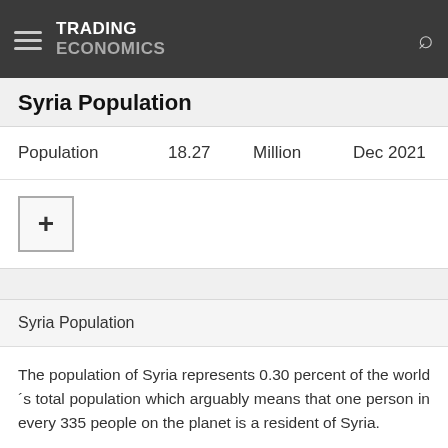TRADING ECONOMICS
Syria Population
|  | Value | Unit | Date |
| --- | --- | --- | --- |
| Population | 18.27 | Million | Dec 2021 |
Syria Population
The population of Syria represents 0.30 percent of the world´s total population which arguably means that one person in every 335 people on the planet is a resident of Syria.
| Actual | Previous | Highest | Lowest | Dates | Unit |
| --- | --- | --- | --- | --- | --- |
| 18.27 | 17.50 | 21.36 | 4.57 | 1960 - 2021 | Million |